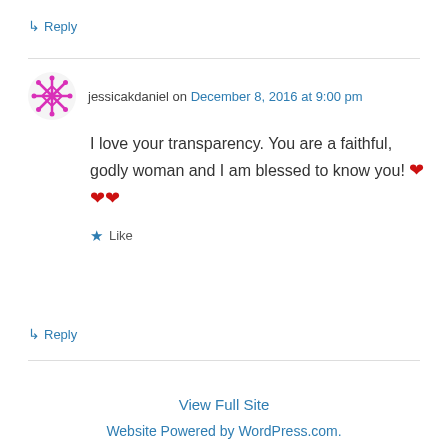↳ Reply
jessicakdaniel on December 8, 2016 at 9:00 pm
I love your transparency. You are a faithful, godly woman and I am blessed to know you! ❤❤❤
★ Like
↳ Reply
View Full Site
Website Powered by WordPress.com.